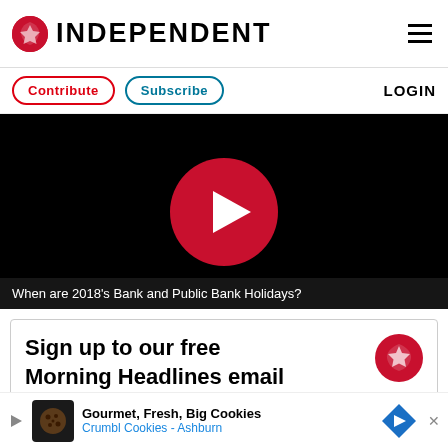INDEPENDENT
Contribute   Subscribe   LOGIN
[Figure (screenshot): Video player with black background and large red circular play button in center. Caption bar reads: When are 2018's Bank and Public Bank Holidays?]
When are 2018's Bank and Public Bank Holidays?
Sign up to our free Morning Headlines email
Gourmet, Fresh, Big Cookies
Crumbl Cookies - Ashburn